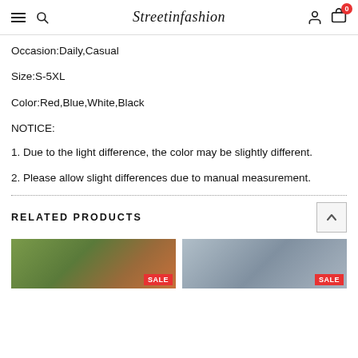Streetinfashion
Occasion:Daily,Casual
Size:S-5XL
Color:Red,Blue,White,Black
NOTICE:
1. Due to the light difference, the color may be slightly different.
2. Please allow slight differences due to manual measurement.
RELATED PRODUCTS
[Figure (photo): Product thumbnail with SALE badge]
[Figure (photo): Product thumbnail with SALE badge]